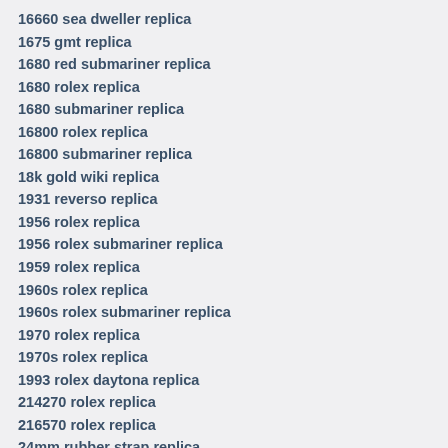16660 sea dweller replica
1675 gmt replica
1680 red submariner replica
1680 rolex replica
1680 submariner replica
16800 rolex replica
16800 submariner replica
18k gold wiki replica
1931 reverso replica
1956 rolex replica
1956 rolex submariner replica
1959 rolex replica
1960s rolex replica
1960s rolex submariner replica
1970 rolex replica
1970s rolex replica
1993 rolex daytona replica
214270 rolex replica
216570 rolex replica
24mm rubber strap replica
2531.80 omega replica
26mm nato strap replica
26mm watch replica
2824 eta replica